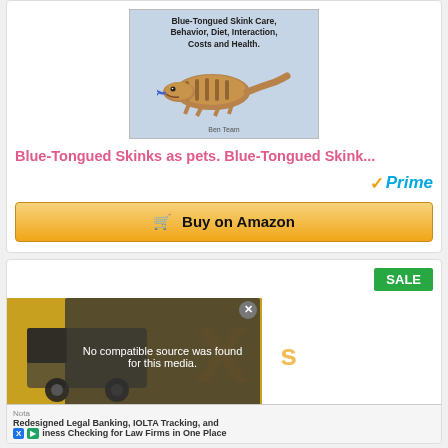[Figure (illustration): Book cover for Blue-Tongued Skink Care with lizard image]
Blue-Tongued Skinks as pets. Blue-Tongued Skink...
[Figure (logo): Amazon Prime checkmark logo]
Buy on Amazon
[Figure (screenshot): Second product card with SALE badge and video overlay saying No compatible source was found for this media.]
Nota Redesigned Legal Banking, IOLTA Tracking, and iness Checking for Law Firms in One Place